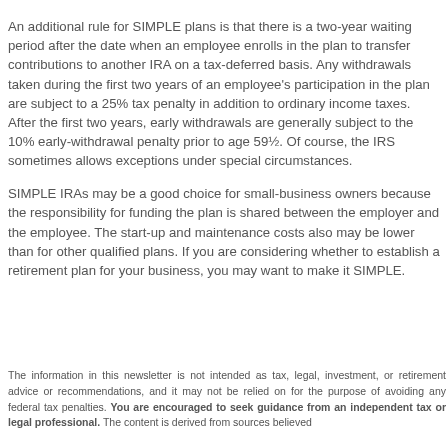An additional rule for SIMPLE plans is that there is a two-year waiting period after the date when an employee enrolls in the plan to transfer contributions to another IRA on a tax-deferred basis. Any withdrawals taken during the first two years of an employee's participation in the plan are subject to a 25% tax penalty in addition to ordinary income taxes. After the first two years, early withdrawals are generally subject to the 10% early-withdrawal penalty prior to age 59½. Of course, the IRS sometimes allows exceptions under special circumstances.
SIMPLE IRAs may be a good choice for small-business owners because the responsibility for funding the plan is shared between the employer and the employee. The start-up and maintenance costs also may be lower than for other qualified plans. If you are considering whether to establish a retirement plan for your business, you may want to make it SIMPLE.
The information in this newsletter is not intended as tax, legal, investment, or retirement advice or recommendations, and it may not be relied on for the purpose of avoiding any federal tax penalties. You are encouraged to seek guidance from an independent tax or legal professional. The content is derived from sources believed